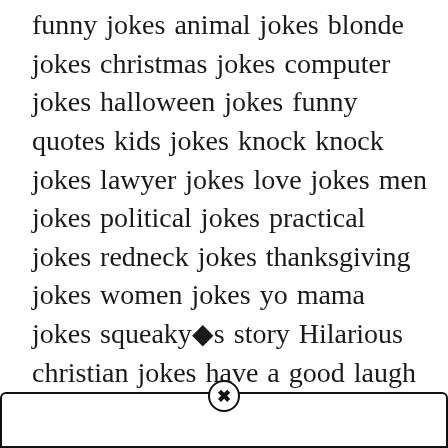funny jokes animal jokes blonde jokes christmas jokes computer jokes halloween jokes funny quotes kids jokes knock knock jokes lawyer jokes love jokes men jokes political jokes practical jokes redneck jokes thanksgiving jokes women jokes yo mama jokes squeaky◆s story Hilarious christian jokes have a good laugh with these hilarious clean jokes!. The other day i sent my girlfriend a huge pile of snow. Who do mice pray to?
[Figure (screenshot): Bottom UI bar with a close/dismiss button (circled X) centered at the top edge of the bar]